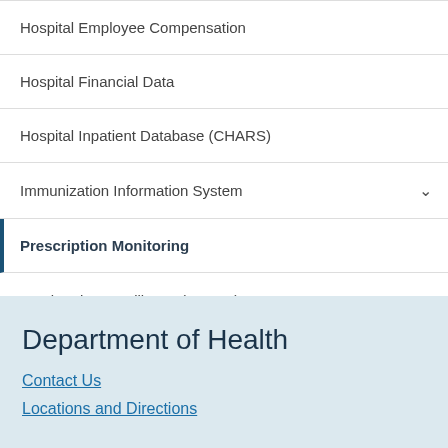Hospital Employee Compensation
Hospital Financial Data
Hospital Inpatient Database (CHARS)
Immunization Information System
Prescription Monitoring
Syndromic Surveillance (RHINO)
Department of Health
Contact Us
Locations and Directions